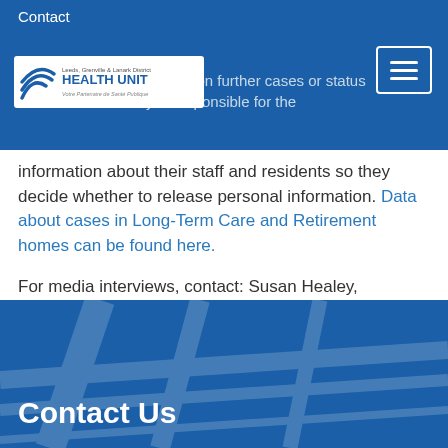Contact
declared, we do not report on further cases or status of cases. The facility is responsible for the information about their staff and residents so they decide whether to release personal information. Data about cases in Long-Term Care and Retirement homes can be found here.
For media interviews, contact: Susan Healey, Communications Co-ordinator, 613-802-0550 or or Katie Jackson, Manager, 613-812-0416 or email media@healthunit.org.
Contact Us